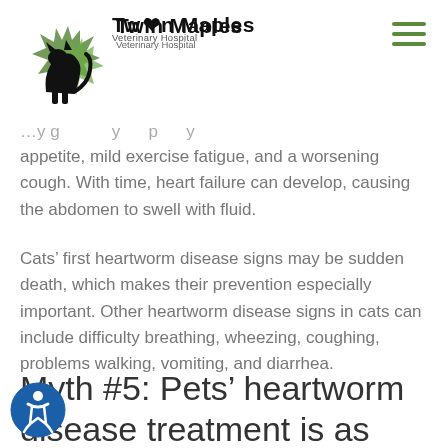[Figure (logo): Twin Maples Veterinary Hospital logo with a black cat silhouette on green maple leaves and the text 'Twin Maples Veterinary Hospital']
appetite, mild exercise fatigue, and a worsening cough. With time, heart failure can develop, causing the abdomen to swell with fluid.
Cats' first heartworm disease signs may be sudden death, which makes their prevention especially important. Other heartworm disease signs in cats can include difficulty breathing, wheezing, coughing, problems walking, vomiting, and diarrhea.
Myth #5: Pets' heartworm disease treatment is as easy as prevention